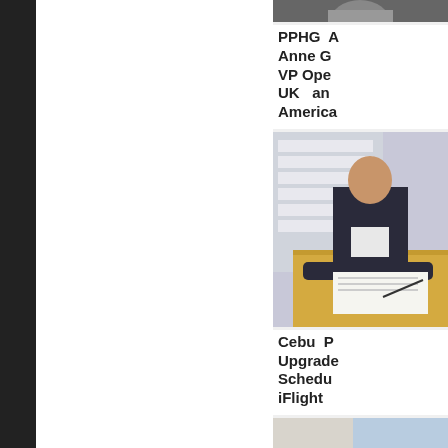[Figure (photo): Partial photo of a person, top of image cut off, dark tones]
PPHG A Anne G VP Ope UK an America
[Figure (photo): Person in suit sitting at a yellow-covered table signing documents, background with papers on wall]
Cebu P Upgrade Schedu iFlight
[Figure (photo): Hotel room interior with large windows, city view, bed and seating area]
Hilton